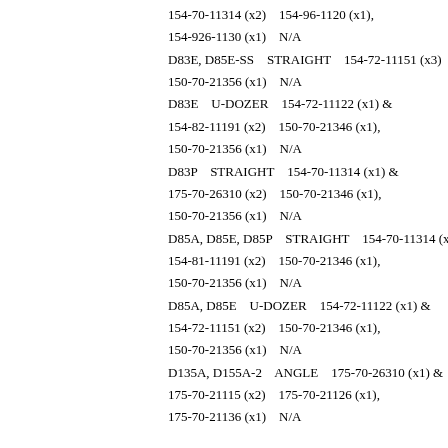154-70-11314 (x2)    154-96-1120 (x1),
154-926-1130 (x1)    N/A
D83E, D85E-SS    STRAIGHT    154-72-11151 (x3)    150-70-213
150-70-21356 (x1)    N/A
D83E    U-DOZER    154-72-11122 (x1) &
154-82-11191 (x2)    150-70-21346 (x1),
150-70-21356 (x1)    N/A
D83P    STRAIGHT    154-70-11314 (x1) &
175-70-26310 (x2)    150-70-21346 (x1),
150-70-21356 (x1)    N/A
D85A, D85E, D85P    STRAIGHT    154-70-11314 (x1) &
154-81-11191 (x2)    150-70-21346 (x1),
150-70-21356 (x1)    N/A
D85A, D85E    U-DOZER    154-72-11122 (x1) &
154-72-11151 (x2)    150-70-21346 (x1),
150-70-21356 (x1)    N/A
D135A, D155A-2    ANGLE    175-70-26310 (x1) &
175-70-21115 (x2)    175-70-21126 (x1),
175-70-21136 (x1)    N/A